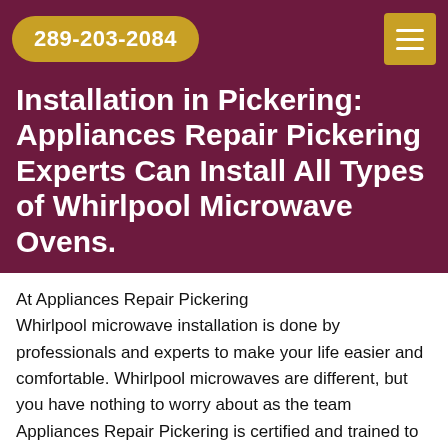289-203-2084
Installation in Pickering: Appliances Repair Pickering Experts Can Install All Types of Whirlpool Microwave Ovens.
At Appliances Repair Pickering Whirlpool microwave installation is done by professionals and experts to make your life easier and comfortable. Whirlpool microwaves are different, but you have nothing to worry about as the team Appliances Repair Pickering is certified and trained to install your Whirlpool microwave without any trouble. We at Appliances Repair Pickering also install all the other appliances.